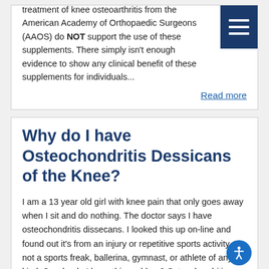treatment of knee osteoarthritis from the American Academy of Orthopaedic Surgeons (AAOS) do NOT support the use of these supplements. There simply isn't enough evidence to show any clinical benefit of these supplements for individuals...
Read more
Why do I have Osteochondritis Dessicans of the Knee?
I am a 13 year old girl with knee pain that only goes away when I sit and do nothing. The doctor says I have osteochondritis dissecans. I looked this up on-line and found out it's from an injury or repetitive sports activity. I'm not a sports freak, ballerina, gymnast, or athlete of any kind. So why do I have this problem? Osteochondritis dissecans (OCD) is a problem that